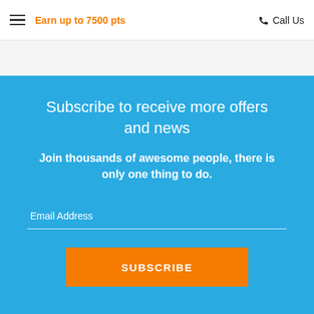≡  Earn up to 7500 pts    📞 Call Us
Subscribe to receive more offers and news
Join thousands of awesome people, there is only one thing to do.
Email Address
SUBSCRIBE